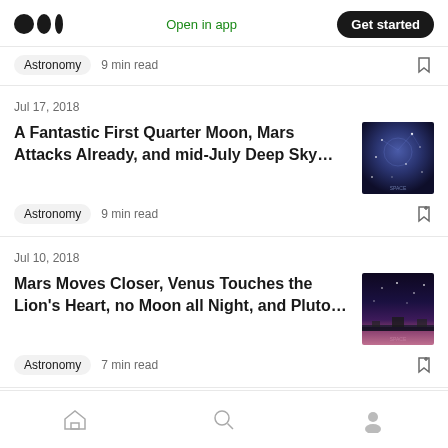Medium logo | Open in app | Get started
Astronomy  9 min read
Jul 17, 2018
A Fantastic First Quarter Moon, Mars Attacks Already, and mid-July Deep Sky…
Astronomy  9 min read
Jul 10, 2018
Mars Moves Closer, Venus Touches the Lion's Heart, no Moon all Night, and Pluto…
Astronomy  7 min read
Home | Search | Profile